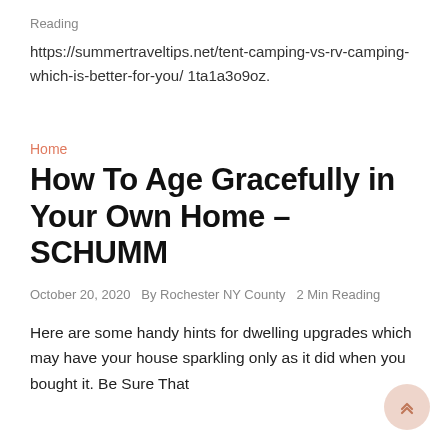Reading
https://summertraveltips.net/tent-camping-vs-rv-camping-which-is-better-for-you/ 1ta1a3o9oz.
Home
How To Age Gracefully in Your Own Home – SCHUMM
October 20, 2020   By Rochester NY County   2 Min Reading
Here are some handy hints for dwelling upgrades which may have your house sparkling only as it did when you bought it. Be Sure That